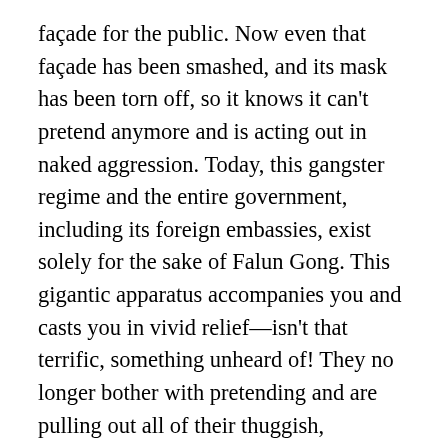façade for the public. Now even that façade has been smashed, and its mask has been torn off, so it knows it can't pretend anymore and is acting out in naked aggression. Today, this gangster regime and the entire government, including its foreign embassies, exist solely for the sake of Falun Gong. This gigantic apparatus accompanies you and casts you in vivid relief—isn't that terrific, something unheard of! They no longer bother with pretending and are pulling out all of their thuggish, underhanded tactics as they go about doing malicious things. It looks like quite an intimidating show that they put on, but I would say that that's their last flurry of activity before they perish. (Applause) Just keep watching and you will see that that's how the drama plays out. This period of history was arranged for Dafa disciples to save sentient beings, so why haven't you taken the lead role? Why give top priority to the words of ordinary